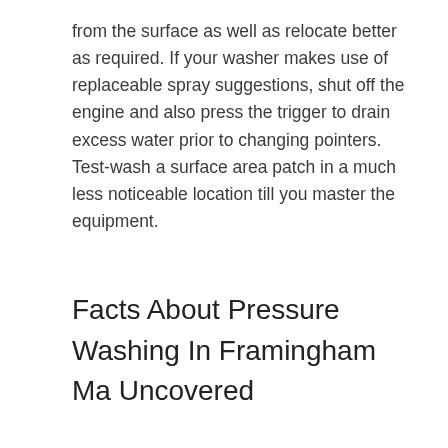from the surface as well as relocate better as required. If your washer makes use of replaceable spray suggestions, shut off the engine and also press the trigger to drain excess water prior to changing pointers. Test-wash a surface area patch in a much less noticeable location till you master the equipment.
Facts About Pressure Washing In Framingham Ma Uncovered